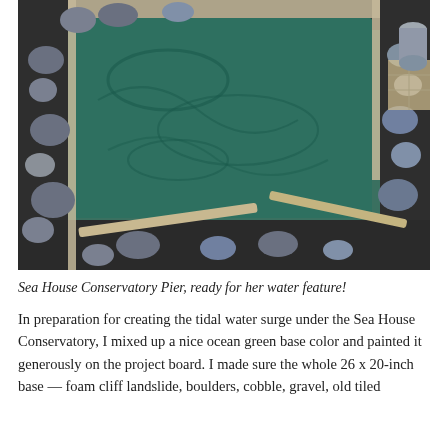[Figure (photo): Overhead view of a rectangular wooden-framed tray filled with ocean-green painted surface (tidal water feature base), surrounded by dark gravel, grey rocks and boulders arranged around the edges. Wooden stir sticks visible at the bottom. Partial view of tiled flooring in the background.]
Sea House Conservatory Pier, ready for her water feature!
In preparation for creating the tidal water surge under the Sea House Conservatory, I mixed up a nice ocean green base color and painted it generously on the project board. I made sure the whole 26 x 20-inch base — foam cliff landslide, boulders, cobble, gravel, old tiled patio — was all coated with the oceanaint to ensure a